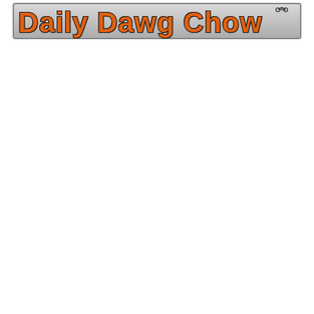[Figure (logo): Daily Dawg Chow logo banner — orange bold serif text 'Daily Dawg Chow' with dark outline on a gray gradient background with border, small dog/bicycle icon in upper right corner]